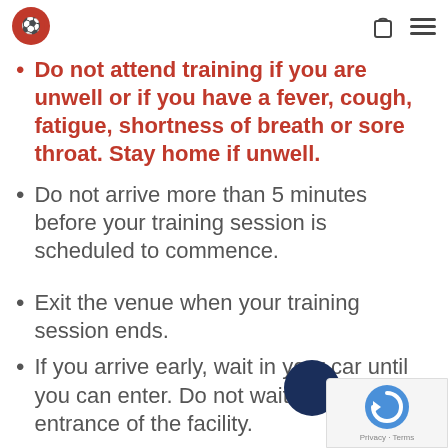[Logo] [Bag icon] [Menu icon]
Do not attend training if you are unwell or if you have a fever, cough, fatigue, shortness of breath or sore throat.  Stay home if unwell.
Do not arrive more than 5 minutes before your training session is scheduled to commence.
Exit the venue when your training session ends.
If you arrive early, wait in your car until you can enter.  Do not wait at the entrance of the facility.